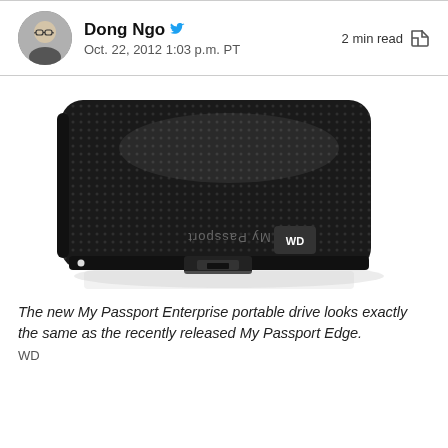Dong Ngo  Oct. 22, 2012 1:03 p.m. PT  2 min read
[Figure (photo): WD My Passport portable hard drive in black, shown at an angle on a white surface with reflection. The drive has a textured dot-pattern top surface and 'My Passport' branding visible on the side, along with the WD logo. A USB port is visible on the front edge.]
The new My Passport Enterprise portable drive looks exactly the same as the recently released My Passport Edge.
WD